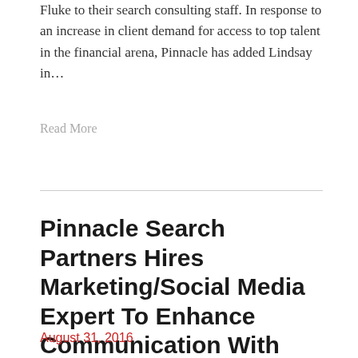Fluke to their search consulting staff. In response to an increase in client demand for access to top talent in the financial arena, Pinnacle has added Lindsay in…
Read More
Pinnacle Search Partners Hires Marketing/Social Media Expert To Enhance Communication With Candidates And Clients
August 31, 2016